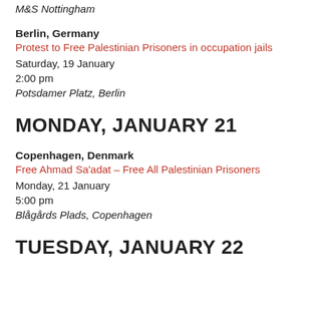M&S Nottingham
Berlin, Germany
Protest to Free Palestinian Prisoners in occupation jails
Saturday, 19 January
2:00 pm
Potsdamer Platz, Berlin
MONDAY, JANUARY 21
Copenhagen, Denmark
Free Ahmad Sa'adat – Free All Palestinian Prisoners
Monday, 21 January
5:00 pm
Blågårds Plads, Copenhagen
TUESDAY, JANUARY 22